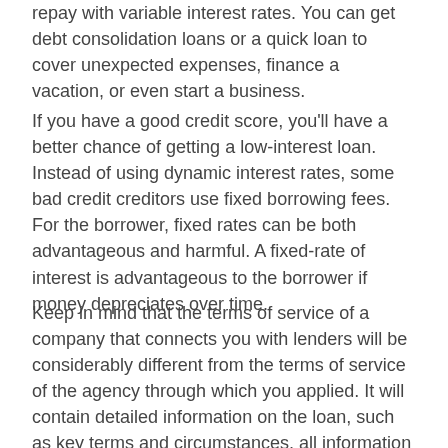repay with variable interest rates. You can get debt consolidation loans or a quick loan to cover unexpected expenses, finance a vacation, or even start a business.
If you have a good credit score, you'll have a better chance of getting a low-interest loan. Instead of using dynamic interest rates, some bad credit creditors use fixed borrowing fees. For the borrower, fixed rates can be both advantageous and harmful. A fixed-rate of interest is advantageous to the borrower if money depreciates over time.
Keep in mind that the terms of service of a company that connects you with lenders will be considerably different from the terms of service of the agency through which you applied. It will contain detailed information on the loan, such as key terms and circumstances, all information regarding the borrowed cash, and the interest rate.